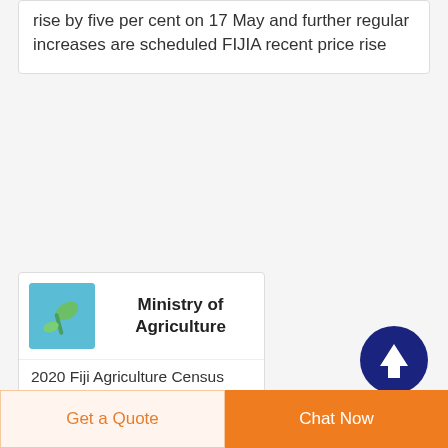rise by five per cent on 17 May and further regular increases are scheduled FIJIA recent price rise
[Figure (photo): Small green plant cutting or seedling on blue background]
Ministry of Agriculture
2020 Fiji Agriculture Census Reports Official Release Volume 1 11 111 1V 8 July 2021 Speech by Honourable Minister for Agriculture Waterways Environment Dr Mahendra Reddy FIJI FARMERS FORUM SOUTH SEA ORCHIDS NADI 24
[Figure (infographic): Dark blue circle with white upward arrow icon (scroll to top button)]
Get a Quote
Chat Now